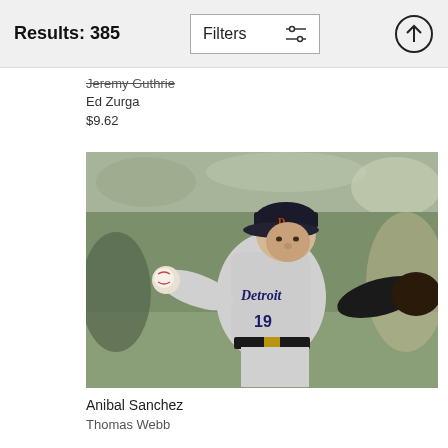Results: 385
Jeremy Guthrie
Ed Zurga
$9.62
[Figure (photo): Baseball pitcher wearing Detroit Tigers gray uniform #19, in mid-pitch throwing stance on the mound, with blurred crowd in background.]
Anibal Sanchez
Thomas Webb